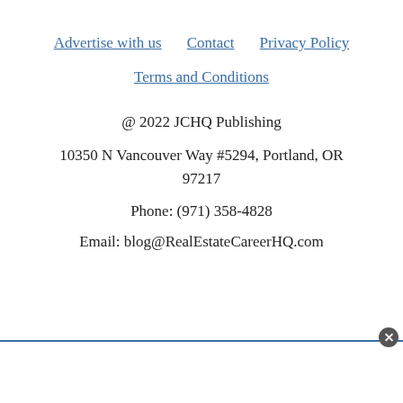Advertise with us   Contact   Privacy Policy
Terms and Conditions
@ 2022 JCHQ Publishing
10350 N Vancouver Way #5294, Portland, OR 97217
Phone: (971) 358-4828
Email: blog@RealEstateCareerHQ.com